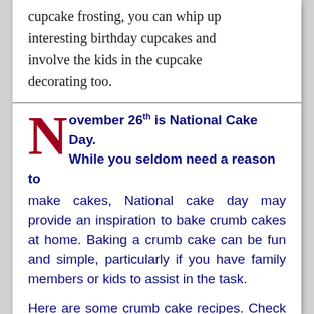cupcake frosting, you can whip up interesting birthday cupcakes and involve the kids in the cupcake decorating too.
November 26th is National Cake Day. While you seldom need a reason to make cakes, National cake day may provide an inspiration to bake crumb cakes at home. Baking a crumb cake can be fun and simple, particularly if you have family members or kids to assist in the task.
Here are some crumb cake recipes. Check the ingredients for crumb cake muffins and crumb cake cupcake. Keep required